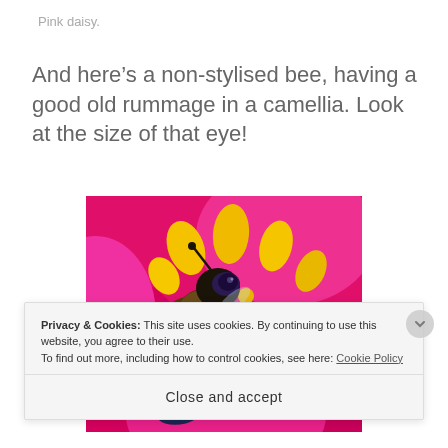Pink daisy.
And here’s a non-stylised bee, having a good old rummage in a camellia. Look at the size of that eye!
[Figure (photo): Close-up macro photograph of a bee rummaging in a bright pink camellia flower with yellow stamens/pollen visible]
Privacy & Cookies: This site uses cookies. By continuing to use this website, you agree to their use.
To find out more, including how to control cookies, see here: Cookie Policy
Close and accept